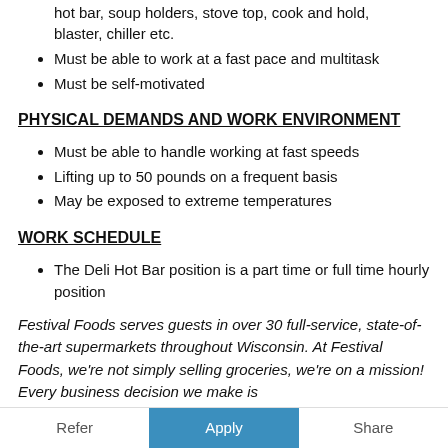hot bar, soup holders, stove top, cook and hold, blaster, chiller etc.
Must be able to work at a fast pace and multitask
Must be self-motivated
PHYSICAL DEMANDS AND WORK ENVIRONMENT
Must be able to handle working at fast speeds
Lifting up to 50 pounds on a frequent basis
May be exposed to extreme temperatures
WORK SCHEDULE
The Deli Hot Bar position is a part time or full time hourly position
Festival Foods serves guests in over 30 full-service, state-of-the-art supermarkets throughout Wisconsin. At Festival Foods, we're not simply selling groceries, we're on a mission!  Every business decision we make is
Refer   Apply   Share